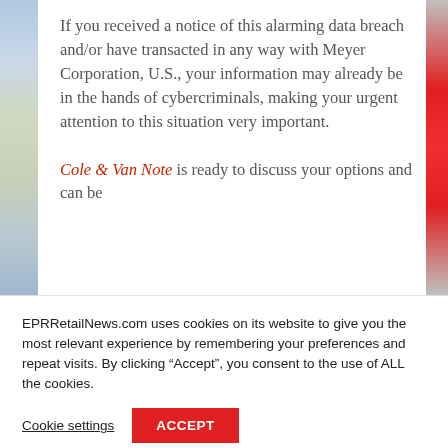If you received a notice of this alarming data breach and/or have transacted in any way with Meyer Corporation, U.S., your information may already be in the hands of cybercriminals, making your urgent attention to this situation very important.
Cole & Van Note is ready to discuss your options and can be
EPRRetailNews.com uses cookies on its website to give you the most relevant experience by remembering your preferences and repeat visits. By clicking “Accept”, you consent to the use of ALL the cookies.
Cookie settings
ACCEPT